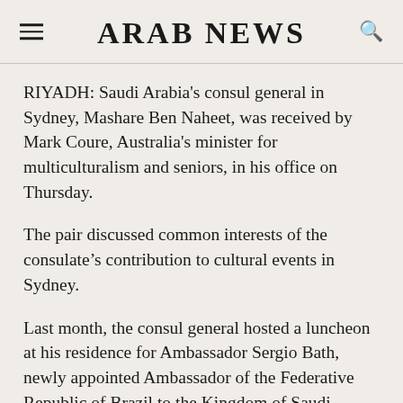ARAB NEWS
RIYADH: Saudi Arabia's consul general in Sydney, Mashare Ben Naheet, was received by Mark Coure, Australia's minister for multiculturalism and seniors, in his office on Thursday.
The pair discussed common interests of the consulate’s contribution to cultural events in Sydney.
Last month, the consul general hosted a luncheon at his residence for Ambassador Sergio Bath, newly appointed Ambassador of the Federative Republic of Brazil to the Kingdom of Saudi Arabia.